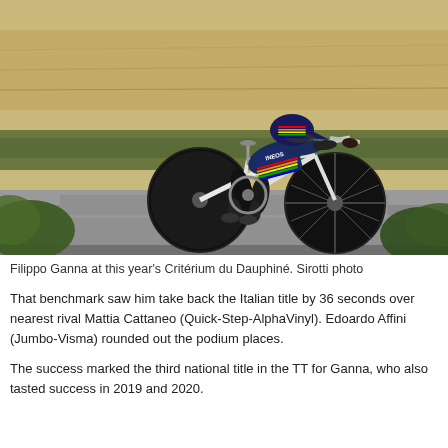[Figure (photo): Filippo Ganna riding a time trial bicycle on a road, wearing an INEOS team kit with world champion rainbow stripes. Rural countryside background with wheat fields and greenery. Pinarello time trial bike.]
Filippo Ganna at this year's Critérium du Dauphiné. Sirotti photo
That benchmark saw him take back the Italian title by 36 seconds over nearest rival Mattia Cattaneo (Quick-Step-AlphaVinyl). Edoardo Affini (Jumbo-Visma) rounded out the podium places.
The success marked the third national title in the TT for Ganna, who also tasted success in 2019 and 2020.